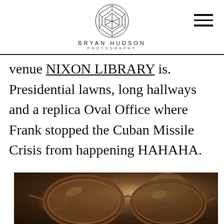BRYAN HUDSON PHOTOGRAPHY
venue NIXON LIBRARY is. Presidential lawns, long hallways and a replica Oval Office where Frank stopped the Cuban Missile Crisis from happening HAHAHA.
[Figure (photo): Close-up photo of vintage eyeglasses/spectacles resting on a dark surface, with bokeh background lighting in warm brown tones.]